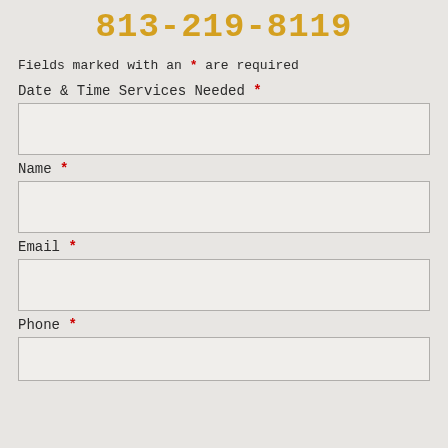813-219-8119
Fields marked with an * are required
Date & Time Services Needed *
Name *
Email *
Phone *